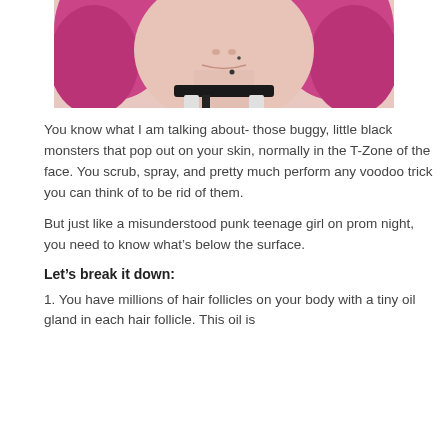[Figure (photo): Close-up photo of a young woman with pink/magenta hair wearing a black choker necklace, smiling slightly, with a small facial piercing below her lip.]
You know what I am talking about- those buggy, little black monsters that pop out on your skin, normally in the T-Zone of the face. You scrub, spray, and pretty much perform any voodoo trick you can think of to be rid of them.
But just like a misunderstood punk teenage girl on prom night, you need to know what’s below the surface.
Let’s break it down:
1. You have millions of hair follicles on your body with a tiny oil gland in each hair follicle. This oil is